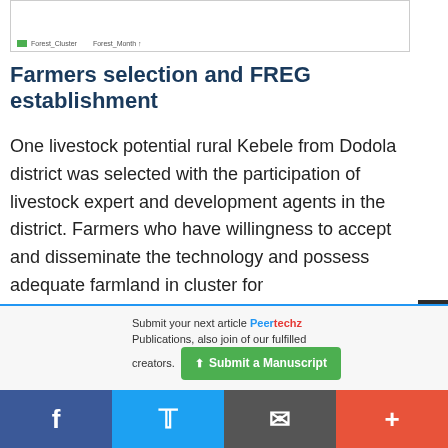[Figure (screenshot): Partial screenshot of a figure or table with a green legend item labeled 'Forest_Cluster' and axis label 'Forest_Month']
Farmers selection and FREG establishment
One livestock potential rural Kebele from Dodola district was selected with the participation of livestock expert and development agents in the district. Farmers who have willingness to accept and disseminate the technology and possess adequate farmland in cluster for
Submit your next article Peertechz Publications, also join of our fulfilled creators.
[Figure (screenshot): Submit a Manuscript button (green) and social media share bar with Facebook, Twitter, email, and plus buttons]